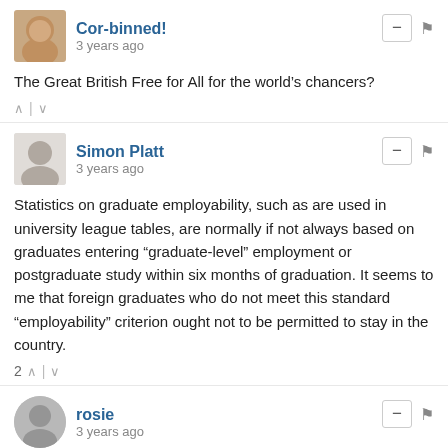Cor-binned!
3 years ago
The Great British Free for All for the world's chancers?
Simon Platt
3 years ago
Statistics on graduate employability, such as are used in university league tables, are normally if not always based on graduates entering “graduate-level” employment or postgraduate study within six months of graduation. It seems to me that foreign graduates who do not meet this standard “employability” criterion ought not to be permitted to stay in the country.
rosie
3 years ago
This is Jo Johnson's bequest. He has an aggressively pro mass immigrationist Guardian wife; she who made him resign from the government after he had done this.